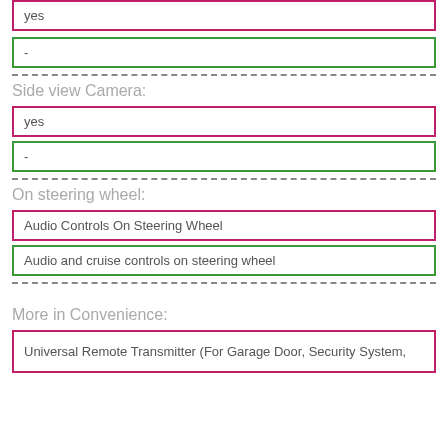yes
-
Side view Camera:
yes
-
On steering wheel:
Audio Controls On Steering Wheel
Audio and cruise controls on steering wheel
More in Convenience:
Universal Remote Transmitter (For Garage Door, Security System,